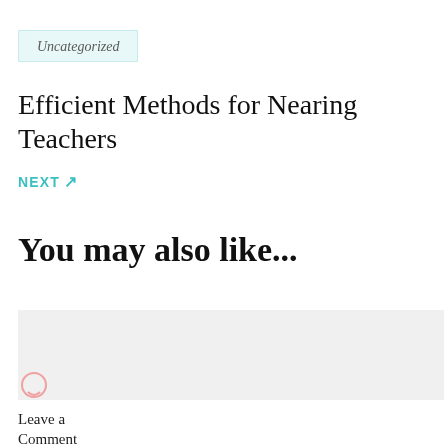Uncategorized
Efficient Methods for Nearing Teachers
NEXT ↗
You may also like...
[Figure (other): Grey placeholder box for related content]
Leave a Comment